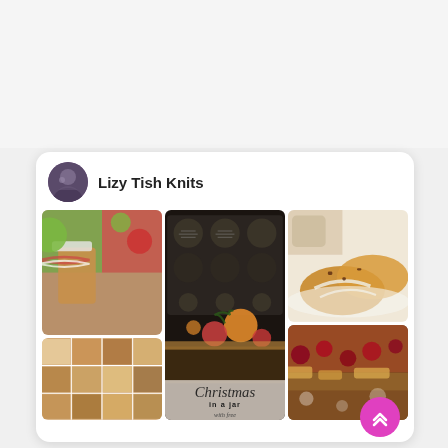[Figure (screenshot): Pinterest board screenshot showing user profile 'Lizy Tish Knits' with avatar and grid of food/recipe images including caramel apple jars, Christmas labels printables, pumpkin scones, casserole, and chocolate dessert.]
Lizy Tish Knits